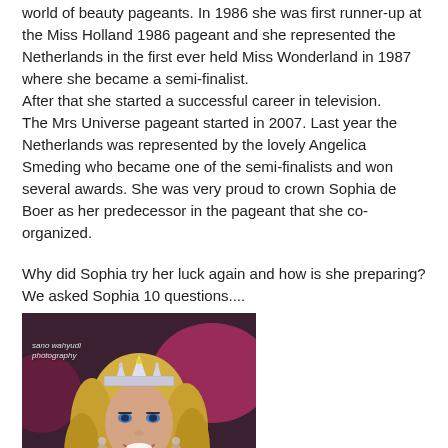world of beauty pageants. In 1986 she was first runner-up at the Miss Holland 1986 pageant and she represented the Netherlands in the first ever held Miss Wonderland in 1987 where she became a semi-finalist.
After that she started a successful career in television.
The Mrs Universe pageant started in 2007. Last year the Netherlands was represented by the lovely Angelica Smeding who became one of the semi-finalists and won several awards. She was very proud to crown Sophia de Boer as her predecessor in the pageant that she co-organized.
Why did Sophia try her luck again and how is she preparing? We asked Sophia 10 questions....
[Figure (photo): A smiling blonde woman wearing a crystal crown and a blue dress with a sash, photographed at what appears to be a pageant event. Watermark reads 'sano wahyudi photography'.]